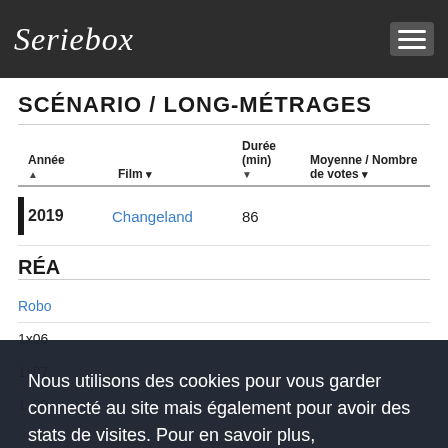Seriebox
SCÉNARIO / LONG-MÉTRAGES
| Année | Film | Durée (min) | Moyenne / Nombre de votes |
| --- | --- | --- | --- |
| 2019 | Changeland | 86 |  |
RÉA
Robo
1x06
1x07
1x08
Nous utilisons des cookies pour vous garder connecté au site mais également pour avoir des stats de visites. Pour en savoir plus, cliquez ici.